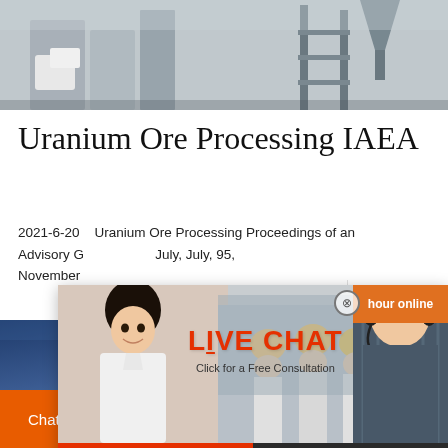[Figure (photo): Industrial facility photo showing silos/tanks and metal scaffolding/framework, gray tones]
Uranium Ore Processing IAEA
2021-6-20    Uranium Ore Processing Proceedings of an Advisory G...  ...  November ...
[Figure (screenshot): Live chat popup overlay with woman and workers in yellow helmets, LIVE CHAT text in red, 'Click for a Free Consultation', Chat now and Chat later buttons, headset woman on right, hour online orange label]
[Figure (photo): Bottom blue banner with industrial machinery/crane silhouette]
Chat Online
cywaitml @gmail.com